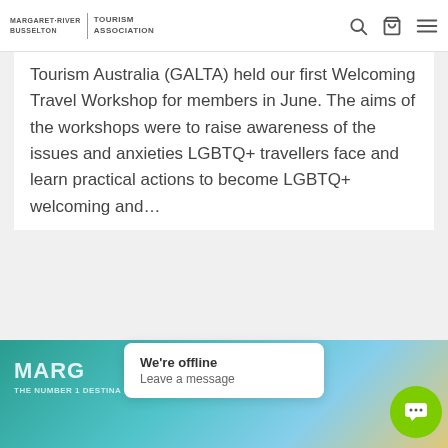MARGARET-RIVER BUSSELTON | TOURISM ASSOCIATION
Tourism Australia (GALTA) held our first Welcoming Travel Workshop for members in June. The aims of the workshops were to raise awareness of the issues and anxieties LGBTQ+ travellers face and learn practical actions to become LGBTQ+ welcoming and…
Amanda Carmichael
July 21, 2022
[Figure (photo): Bottom image strip showing Margaret River destination branding with teal/blue/gold gradient background and white text reading MARG... THE NUMBER 1 DESTINA...]
We're offline
Leave a message